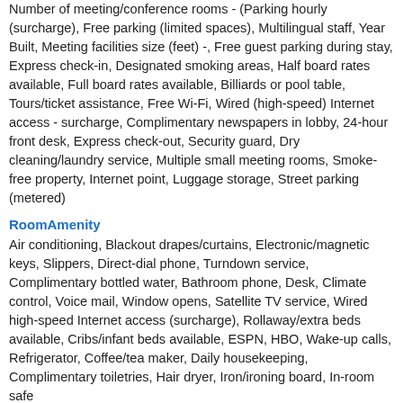Number of meeting/conference rooms - (Parking hourly (surcharge), Free parking (limited spaces), Multilingual staff, Year Built, Meeting facilities size (feet) -, Free guest parking during stay, Express check-in, Designated smoking areas, Half board rates available, Full board rates available, Billiards or pool table, Tours/ticket assistance, Free Wi-Fi, Wired (high-speed) Internet access - surcharge, Complimentary newspapers in lobby, 24-hour front desk, Express check-out, Security guard, Dry cleaning/laundry service, Multiple small meeting rooms, Smoke-free property, Internet point, Luggage storage, Street parking (metered)
RoomAmenity
Air conditioning, Blackout drapes/curtains, Electronic/magnetic keys, Slippers, Direct-dial phone, Turndown service, Complimentary bottled water, Bathroom phone, Desk, Climate control, Voice mail, Window opens, Satellite TV service, Wired high-speed Internet access (surcharge), Rollaway/extra beds available, Cribs/infant beds available, ESPN, HBO, Wake-up calls, Refrigerator, Coffee/tea maker, Daily housekeeping, Complimentary toiletries, Hair dryer, Iron/ironing board, In-room safe
Recreation Description
Recreational amenities at the hotel include an indoor pool, a sauna,